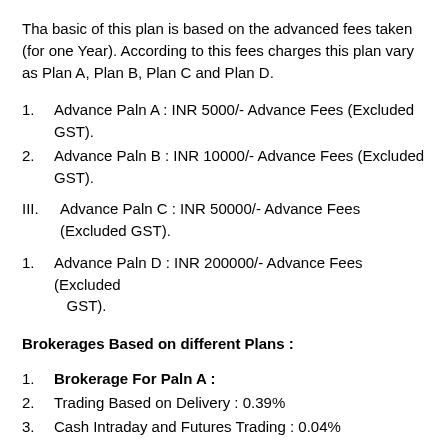Tha basic of this plan is based on the advanced fees taken (for one Year). According to this fees charges this plan vary as Plan A, Plan B, Plan C and Plan D.
1. Advance Paln A : INR 5000/- Advance Fees (Excluded GST).
2. Advance Paln B : INR 10000/- Advance Fees (Excluded GST).
III. Advance Paln C : INR 50000/- Advance Fees (Excluded GST).
1. Advance Paln D : INR 200000/- Advance Fees (Excluded GST).
Brokerages Based on different Plans :
1. Brokerage For Paln A :
2. Trading Based on Delivery : 0.39%
3. Cash Intraday and Futures Trading : 0.04%
• Options Trading : INR 225 per lot.
1. Futures Currency Trading : 0.024% or INR 12/- (Which ever is